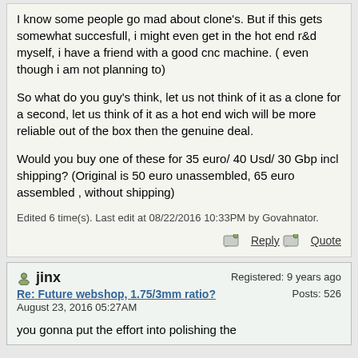I know some people go mad about clone's. But if this gets somewhat succesfull, i might even get in the hot end r&d myself, i have a friend with a good cnc machine. ( even though i am not planning to)

So what do you guy's think, let us not think of it as a clone for a second, let us think of it as a hot end wich will be more reliable out of the box then the genuine deal.

Would you buy one of these for 35 euro/ 40 Usd/ 30 Gbp incl shipping? (Original is 50 euro unassembled, 65 euro assembled , without shipping)
Edited 6 time(s). Last edit at 08/22/2016 10:33PM by Govahnator.
Reply   Quote
jinx
Re: Future webshop, 1.75/3mm ratio?
August 23, 2016 05:27AM
Registered: 9 years ago
Posts: 526
you gonna put the effort into polishing the